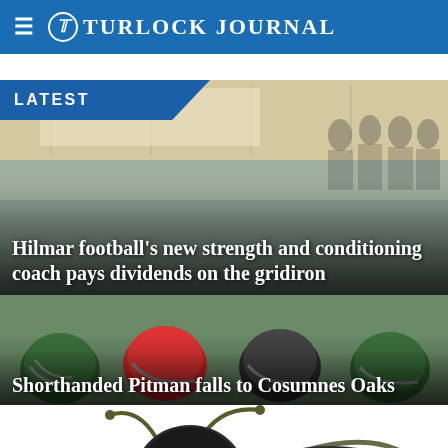Turlock Journal
LATEST
[Figure (photo): Students or athletes gathered in a gym or classroom setting, background article image for Hilmar football story]
Hilmar football’s new strength and conditioning coach pays dividends on the gridiron
[Figure (photo): Football players with helmets lined up on field, background image for Pitman story]
Shorthanded Pitman falls to Cosumnes Oaks
[Figure (illustration): Bee mascot illustration, partially cropped at bottom of page]